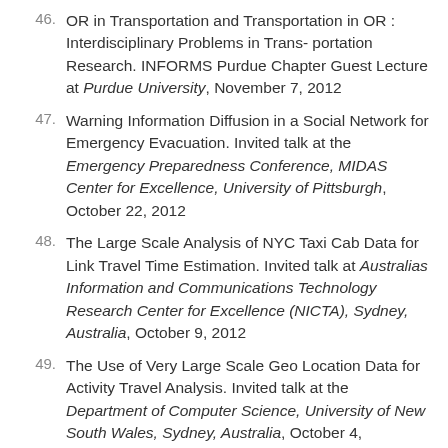46. OR in Transportation and Transportation in OR : Interdisciplinary Problems in Trans- portation Research. INFORMS Purdue Chapter Guest Lecture at Purdue University, November 7, 2012
47. Warning Information Diffusion in a Social Network for Emergency Evacuation. Invited talk at the Emergency Preparedness Conference, MIDAS Center for Excellence, University of Pittsburgh, October 22, 2012
48. The Large Scale Analysis of NYC Taxi Cab Data for Link Travel Time Estimation. Invited talk at Australias Information and Communications Technology Research Center for Excellence (NICTA), Sydney, Australia, October 9, 2012
49. The Use of Very Large Scale Geo Location Data for Activity Travel Analysis. Invited talk at the Department of Computer Science, University of New South Wales, Sydney, Australia, October 4,